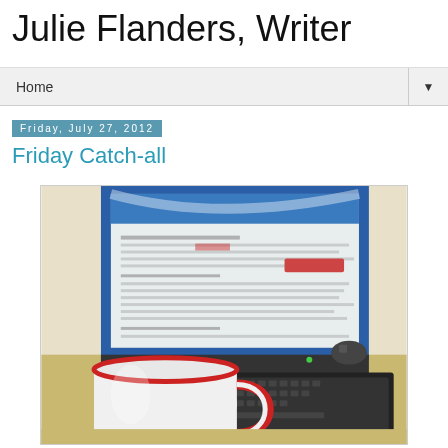Julie Flanders, Writer
Home
Friday, July 27, 2012
Friday Catch-all
[Figure (photo): A coffee mug with red rim in the foreground and a laptop computer displaying a document with text, and a keyboard to the right, on a desk surface.]